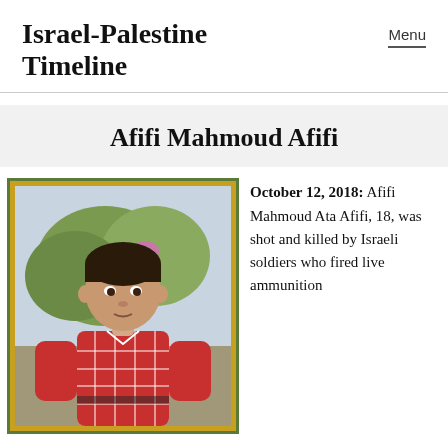Israel-Palestine Timeline
Afifi Mahmoud Afifi
[Figure (photo): Portrait photo of a young boy wearing a red and white plaid shirt, with flowers and greenery visible in the background. Photo has an orange/gold inner border and dark green outer border.]
October 12, 2018: Afifi Mahmoud Ata Afifi, 18, was shot and killed by Israeli soldiers who fired live ammunition